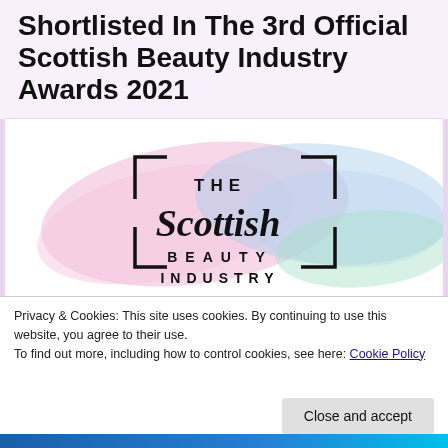Shortlisted In The 3rd Official Scottish Beauty Industry Awards 2021
[Figure (logo): The Scottish Beauty Industry logo: decorative brush-stroke background in pastel pink, blue and green. A square bracket frame surrounds the text 'THE Scottish BEAUTY INDUSTRY' in mixed serif/sans typography.]
Privacy & Cookies: This site uses cookies. By continuing to use this website, you agree to their use.
To find out more, including how to control cookies, see here: Cookie Policy